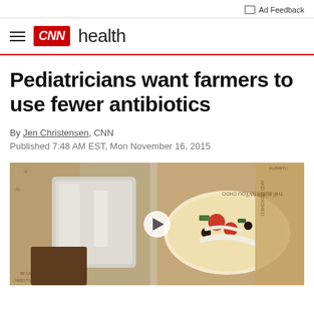Ad Feedback
CNN Health
Pediatricians want farmers to use fewer antibiotics
By Jen Christensen, CNN
Published 7:48 AM EST, Mon November 16, 2015
[Figure (photo): Photo of Chipotle burrito bowl and wrapped burrito with branded paper packaging, with a video play button overlay in the center]